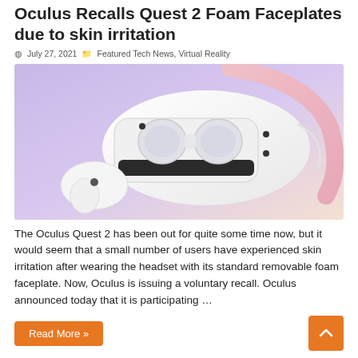Oculus Recalls Quest 2 Foam Faceplates due to skin irritation
July 27, 2021   Featured Tech News, Virtual Reality
[Figure (photo): Oculus Quest 2 VR headset floating against a soft purple and peach gradient background, showing the white headset with black accents and controller attachments]
The Oculus Quest 2 has been out for quite some time now, but it would seem that a small number of users have experienced skin irritation after wearing the headset with its standard removable foam faceplate. Now, Oculus is issuing a voluntary recall. Oculus announced today that it is participating …